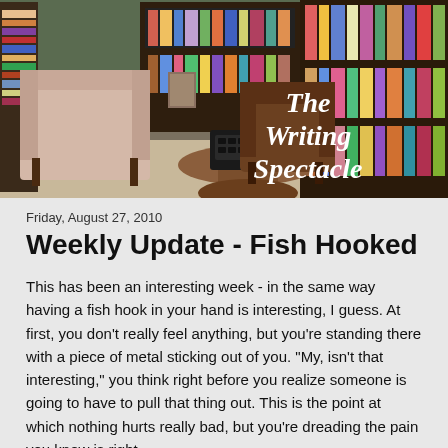[Figure (photo): Banner photo of a cozy reading/writing room with bookshelves full of books, a leather armchair, a wooden chair, and a round table with a vintage typewriter. White italic text overlay reads 'The Writing Spectacle'.]
Friday, August 27, 2010
Weekly Update - Fish Hooked
This has been an interesting week - in the same way having a fish hook in your hand is interesting, I guess.  At first, you don't really feel anything, but you're standing there with a piece of metal sticking out of you.  "My, isn't that interesting," you think right before you realize someone is going to have to pull that thing out.  This is the point at which nothing hurts really bad, but you're dreading the pain you know is right